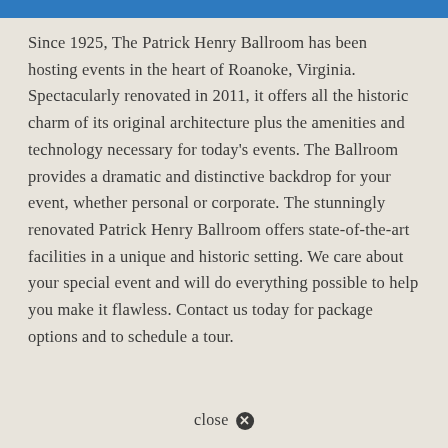Since 1925, The Patrick Henry Ballroom has been hosting events in the heart of Roanoke, Virginia. Spectacularly renovated in 2011, it offers all the historic charm of its original architecture plus the amenities and technology necessary for today's events. The Ballroom provides a dramatic and distinctive backdrop for your event, whether personal or corporate. The stunningly renovated Patrick Henry Ballroom offers state-of-the-art facilities in a unique and historic setting. We care about your special event and will do everything possible to help you make it flawless. Contact us today for package options and to schedule a tour.
close ✕